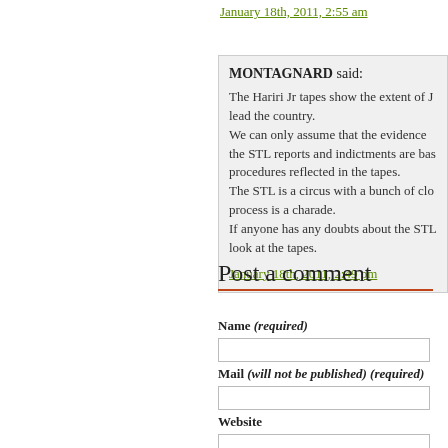January 18th, 2011, 2:55 am
MONTAGNARD said:
The Hariri Jr tapes show the extent of J lead the country.
We can only assume that the evidence the STL reports and indictments are bas procedures reflected in the tapes.
The STL is a circus with a bunch of clo process is a charade.
If anyone has any doubts about the STL look at the tapes.
January 18th, 2011, 2:49 pm
Post a comment
Name (required)
Mail (will not be published) (required)
Website